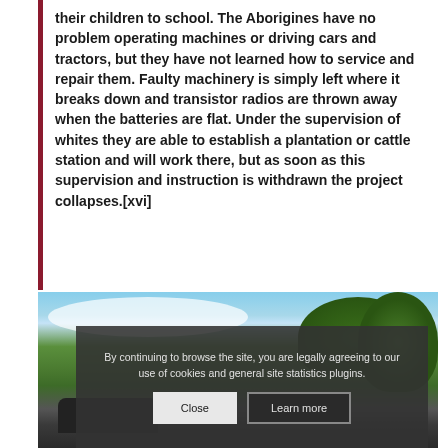their children to school. The Aborigines have no problem operating machines or driving cars and tractors, but they have not learned how to service and repair them. Faulty machinery is simply left where it breaks down and transistor radios are thrown away when the batteries are flat. Under the supervision of whites they are able to establish a plantation or cattle station and will work there, but as soon as this supervision and instruction is withdrawn the project collapses.[xvi]
[Figure (photo): Outdoor photo showing sky with clouds, green trees, and what appears to be a car or vehicle in the foreground, partially in shadow. A cookie consent overlay banner covers the lower portion of the image with text and two buttons.]